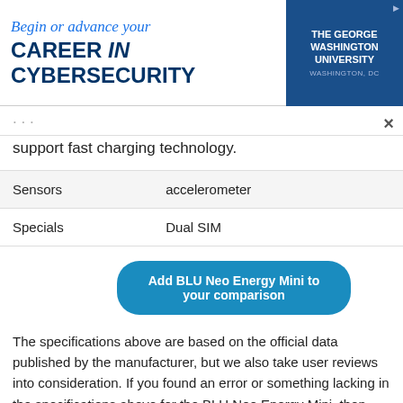[Figure (screenshot): Advertisement banner for The George Washington University Cybersecurity program. Left side text: 'Begin or advance your CAREER in CYBERSECURITY'. Right side: blue background with 'THE GEORGE WASHINGTON UNIVERSITY WASHINGTON, DC' logo.]
support fast charging technology.
| Sensors | accelerometer |
| Specials | Dual SIM |
Add BLU Neo Energy Mini to your comparison
The specifications above are based on the official data published by the manufacturer, but we also take user reviews into consideration. If you found an error or something lacking in the specifications above for the BLU Neo Energy Mini, then don't hesitate and signal the problem to us.